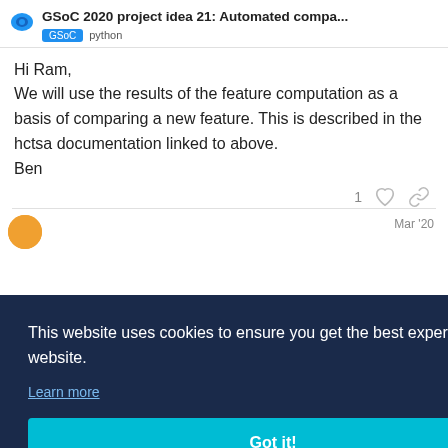GSoC 2020 project idea 21: Automated compa... | GSoC python
Hi Ram,
We will use the results of the feature computation as a basis of comparing a new feature. This is described in the hctsa documentation linked to above.
Ben
Mar '20
This website uses cookies to ensure you get the best experience on our website. Learn more Got it!